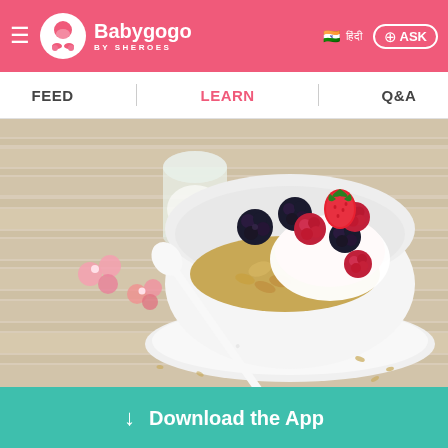Babygogo BY SHEROES — FEED | LEARN | Q&A
[Figure (photo): A white bowl filled with granola, yogurt, blackberries, raspberries, and a strawberry on a wooden surface, with a white spoon and a jar of milk in the background, and pink flowers nearby.]
Download the App